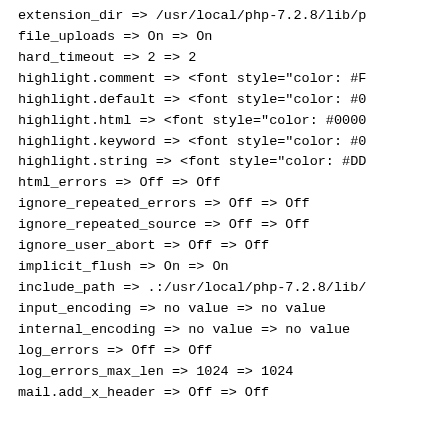extension_dir => /usr/local/php-7.2.8/lib/p
file_uploads => On => On
hard_timeout => 2 => 2
highlight.comment => <font style="color: #F
highlight.default => <font style="color: #0
highlight.html => <font style="color: #0000
highlight.keyword => <font style="color: #0
highlight.string => <font style="color: #DD
html_errors => Off => Off
ignore_repeated_errors => Off => Off
ignore_repeated_source => Off => Off
ignore_user_abort => Off => Off
implicit_flush => On => On
include_path => .:/usr/local/php-7.2.8/lib/
input_encoding => no value => no value
internal_encoding => no value => no value
log_errors => Off => Off
log_errors_max_len => 1024 => 1024
mail.add_x_header => Off => Off